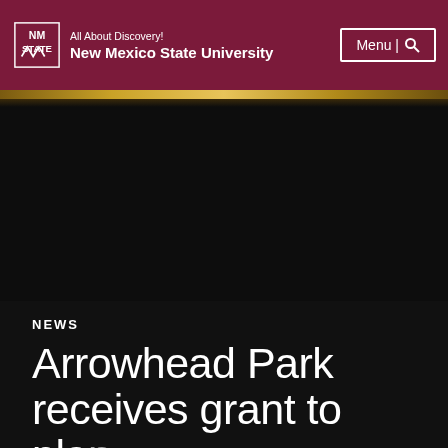All About Discovery! New Mexico State University | Menu
[Figure (photo): Hero image area - dark/black background with faint landscape visible at top edge]
NEWS
Arrowhead Park receives grant to plan development of ho...